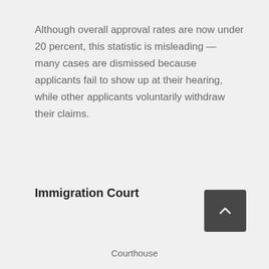Although overall approval rates are now under 20 percent, this statistic is misleading — many cases are dismissed because applicants fail to show up at their hearing, while other applicants voluntarily withdraw their claims.
Immigration Court
Courthouse